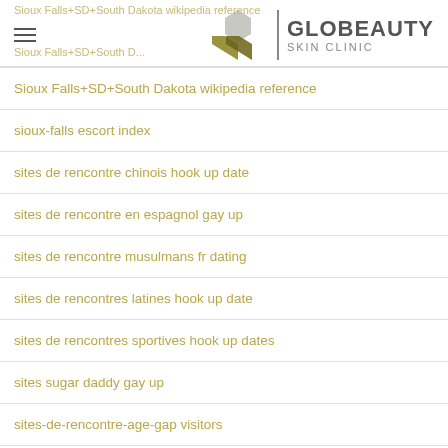Sioux Falls+SD+South Dakota | GLOBEAUTY SKIN CLINIC
Sioux Falls+SD+South Dakota wikipedia reference
sioux-falls escort index
sites de rencontre chinois hook up date
sites de rencontre en espagnol gay up
sites de rencontre musulmans fr dating
sites de rencontres latines hook up date
sites de rencontres sportives hook up dates
sites sugar daddy gay up
sites-de-rencontre-age-gap visitors
sites-de-rencontre-senior reviews
sites-de-rencontre-verts review